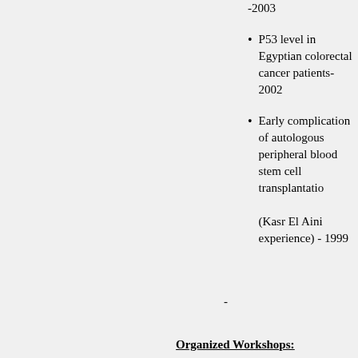-2003
P53 level in Egyptian colorectal cancer patients-2002
Early complication of autologous peripheral blood stem cell transplantation (Kasr El Aini experience) - 1999
-
Organized Workshops: